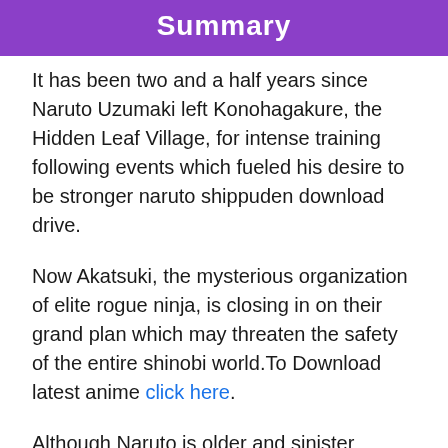Summary
It has been two and a half years since Naruto Uzumaki left Konohagakure, the Hidden Leaf Village, for intense training following events which fueled his desire to be stronger naruto shippuden download drive.
Now Akatsuki, the mysterious organization of elite rogue ninja, is closing in on their grand plan which may threaten the safety of the entire shinobi world.To Download latest anime click here.
Although Naruto is older and sinister events loom on the horizon, he has changed little in personality—still rambunctious and childish—though he is now far more confident and possesses an even greater determination to protect his friends and home naruto shippuden season 1 .